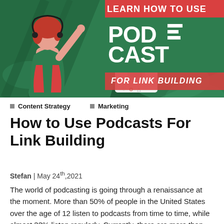[Figure (illustration): Promotional banner with green background showing an illustrated woman with red hair wearing headphones, holding a device. Text reads 'LEARN HOW TO USE PODCAST FOR LINK BUILDING'. Red accent banner for 'FOR LINK BUILDING' text.]
Content Strategy
Marketing
How to Use Podcasts For Link Building
Stefan | May 24th,2021
The world of podcasting is going through a renaissance at the moment. More than 50% of people in the United States over the age of 12 listen to podcasts from time to time, while almost 33% listen regularly. Currently, there are more than three-quarters of a million active podcasts in...